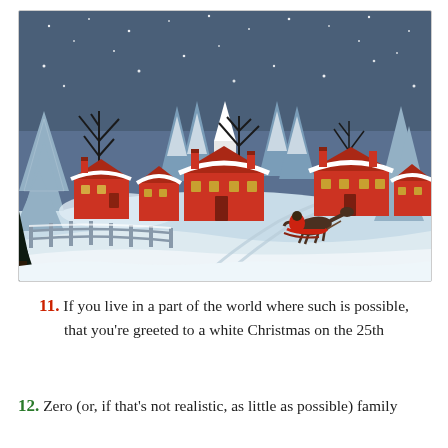[Figure (illustration): Vintage Christmas illustration showing a snowy New England village scene at night. Red colonial houses with white snow-covered roofs, a white church steeple, bare black trees, snow-covered evergreen trees, a wooden fence, and a horse-drawn sleigh on a snowy road. Dark blue starry sky background.]
11. If you live in a part of the world where such is possible, that you're greeted to a white Christmas on the 25th
12. Zero (or, if that's not realistic, as little as possible) family